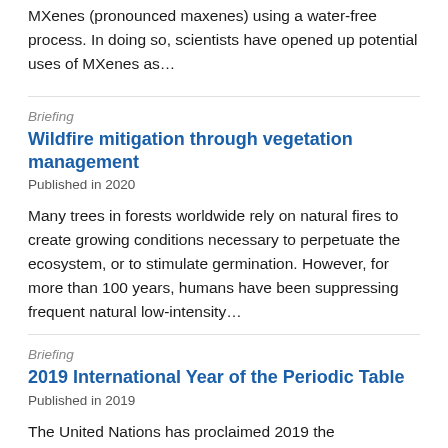MXenes (pronounced maxenes) using a water-free process. In doing so, scientists have opened up potential uses of MXenes as…
Briefing
Wildfire mitigation through vegetation management
Published in 2020
Many trees in forests worldwide rely on natural fires to create growing conditions necessary to perpetuate the ecosystem, or to stimulate germination. However, for more than 100 years, humans have been suppressing frequent natural low-intensity…
Briefing
2019 International Year of the Periodic Table
Published in 2019
The United Nations has proclaimed 2019 the International Year of the Periodic Table of Chemical Elements (IYPT2019). The same year also marks the 150th anniversary of the publication of Russian chemist Dmitri Mendeleev's periodic table, containing…